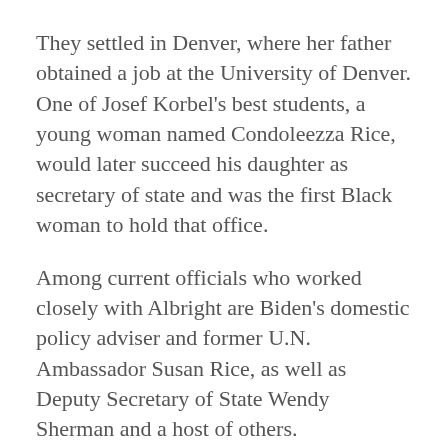They settled in Denver, where her father obtained a job at the University of Denver. One of Josef Korbel’s best students, a young woman named Condoleezza Rice, would later succeed his daughter as secretary of state and was the first Black woman to hold that office.
Among current officials who worked closely with Albright are Biden’s domestic policy adviser and former U.N. Ambassador Susan Rice, as well as Deputy Secretary of State Wendy Sherman and a host of others.
Albright graduated from Wellesley College in 1959. She worked as a journalist and later studied international relations at Columbia University, where she earned a master’s degree in 1968 and a Ph.D. in